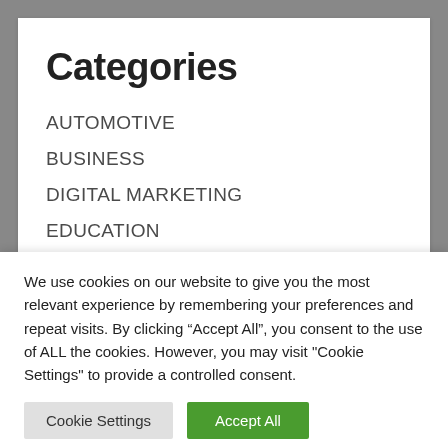Categories
AUTOMOTIVE
BUSINESS
DIGITAL MARKETING
EDUCATION
ENTERTAINMENT
HEALTH
HOME IMPROVEMENT
We use cookies on our website to give you the most relevant experience by remembering your preferences and repeat visits. By clicking “Accept All”, you consent to the use of ALL the cookies. However, you may visit "Cookie Settings" to provide a controlled consent.
Cookie Settings | Accept All